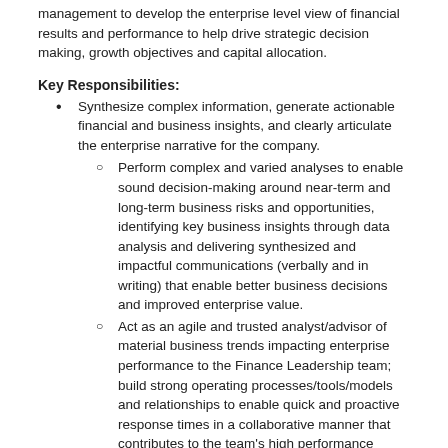management to develop the enterprise level view of financial results and performance to help drive strategic decision making, growth objectives and capital allocation.
Key Responsibilities:
Synthesize complex information, generate actionable financial and business insights, and clearly articulate the enterprise narrative for the company.
Perform complex and varied analyses to enable sound decision-making around near-term and long-term business risks and opportunities, identifying key business insights through data analysis and delivering synthesized and impactful communications (verbally and in writing) that enable better business decisions and improved enterprise value.
Act as an agile and trusted analyst/advisor of material business trends impacting enterprise performance to the Finance Leadership team; build strong operating processes/tools/models and relationships to enable quick and proactive response times in a collaborative manner that contributes to the team's high performance culture.
Support the Corporate FP&A efforts, including long term strategic planning, annual operating and capital budgets, forecasting and